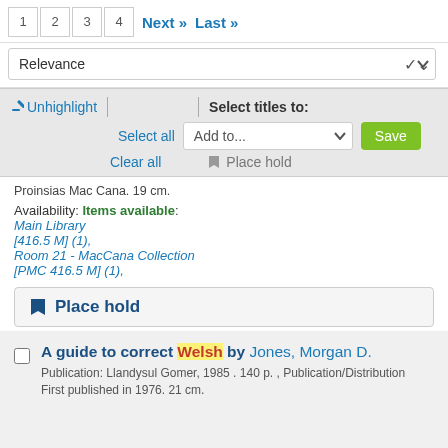1  2  3  4  Next »  Last »
Relevance
✏ Unhighlight | Select titles to:
Select all  Add to...  Save
Clear all  🔖 Place hold
Proinsias Mac Cana. 19 cm.
Availability: Items available: Main Library [416.5 M] (1), Room 21 - MacCana Collection [PMC 416.5 M] (1),
🔖 Place hold
A guide to correct Welsh by Jones, Morgan D.
Publication: Llandysul Gomer, 1985 . 140 p. , Publication/Distribution First published in 1976. 21 cm.